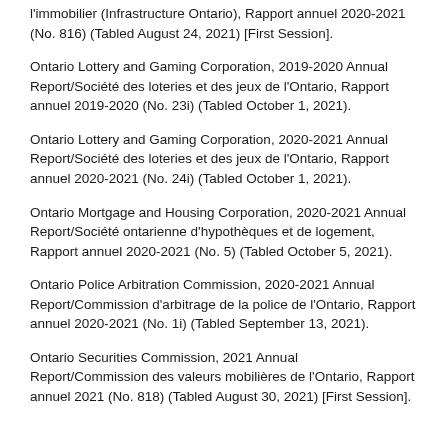l'immobilier (Infrastructure Ontario), Rapport annuel 2020-2021 (No. 816) (Tabled August 24, 2021) [First Session].
Ontario Lottery and Gaming Corporation, 2019-2020 Annual Report/Société des loteries et des jeux de l'Ontario, Rapport annuel 2019-2020 (No. 23i) (Tabled October 1, 2021).
Ontario Lottery and Gaming Corporation, 2020-2021 Annual Report/Société des loteries et des jeux de l'Ontario, Rapport annuel 2020-2021 (No. 24i) (Tabled October 1, 2021).
Ontario Mortgage and Housing Corporation, 2020-2021 Annual Report/Société ontarienne d'hypothèques et de logement, Rapport annuel 2020-2021 (No. 5) (Tabled October 5, 2021).
Ontario Police Arbitration Commission, 2020-2021 Annual Report/Commission d'arbitrage de la police de l'Ontario, Rapport annuel 2020-2021 (No. 1i) (Tabled September 13, 2021).
Ontario Securities Commission, 2021 Annual Report/Commission des valeurs mobilières de l'Ontario, Rapport annuel 2021 (No. 818) (Tabled August 30, 2021) [First Session].